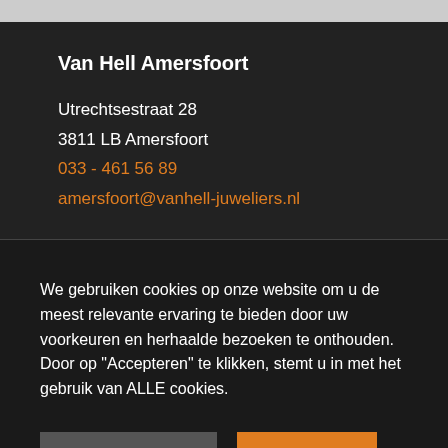Van Hell Amersfoort
Utrechtsestraat 28
3811 LB Amersfoort
033 - 461 56 89
amersfoort@vanhell-juweliers.nl
We gebruiken cookies op onze website om u de meest relevante ervaring te bieden door uw voorkeuren en herhaalde bezoeken te onthouden. Door op "Accepteren" te klikken, stemt u in met het gebruik van ALLE cookies.
Cookies instellingen
Accepteren